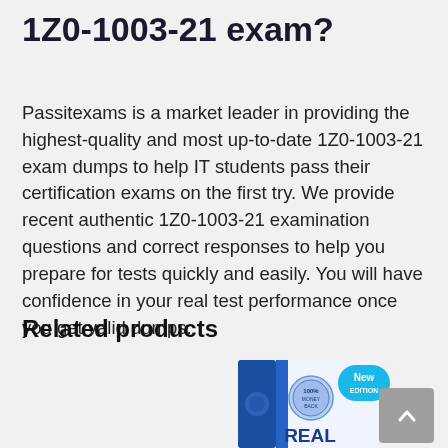1Z0-1003-21 exam?
Passitexams is a market leader in providing the highest-quality and most up-to-date 1Z0-1003-21 exam dumps to help IT students pass their certification exams on the first try. We provide recent authentic 1Z0-1003-21 examination questions and correct responses to help you prepare for tests quickly and easily. You will have confidence in your real test performance once you get valid dumps.
Related products
[Figure (photo): Product box image showing a blue certification exam preparation book/dump with a 'New Edition' badge and '100% Money Back' seal, with text 'REAL' visible at the bottom.]